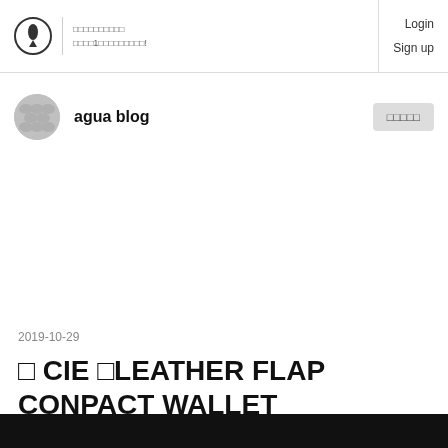Login Sign up
agua blog
2019-10-29
□ CIE □LEATHER FLAP CONPACT WALLET